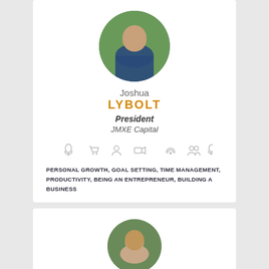[Figure (photo): Circular profile photo of Joshua Lybolt, smiling man in suit with greenery background]
Joshua LYBOLT
President
JMXE Capital
[Figure (infographic): Row of small grey icons: microphone, shopping cart, person, video camera, wifi/graduation, group of people, microphone]
PERSONAL GROWTH, GOAL SETTING, TIME MANAGEMENT, PRODUCTIVITY, BEING AN ENTREPRENEUR, BUILDING A BUSINESS
[Figure (photo): Circular profile photo of a second man, partially visible at bottom of page, dark hair, green background]